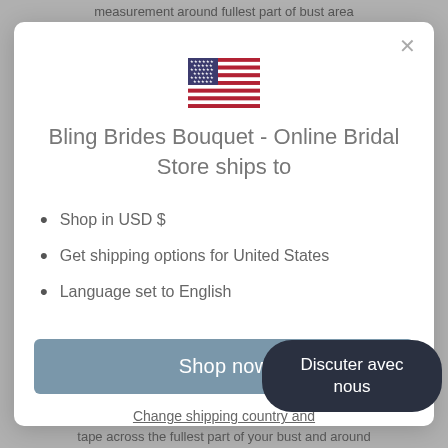measurement around fullest part of bust area
[Figure (illustration): US flag icon]
Bling Brides Bouquet - Online Bridal Store ships to
Shop in USD $
Get shipping options for United States
Language set to English
Shop now
Change shipping country and
Discuter avec nous
tape across the fullest part of your bust and around